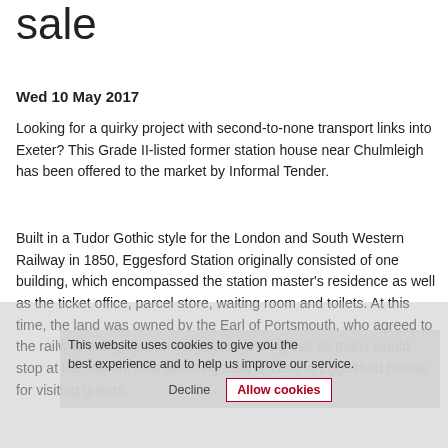sale
Wed 10 May 2017
Looking for a quirky project with second-to-none transport links into Exeter? This Grade II-listed former station house near Chulmleigh has been offered to the market by Informal Tender.
Built in a Tudor Gothic style for the London and South Western Railway in 1850, Eggesford Station originally consisted of one building, which encompassed the station master's residence as well as the ticket office, parcel store, waiting room and toilets. At this time, the land was owned by the Earl of Portsmouth, who agreed to the railway being built on the understanding that all trains would stop at the station, thus affording easy access to Eggesford House for visiting guests.
This website uses cookies to give you the best experience and to help us improve our service. Decline | Allow cookies